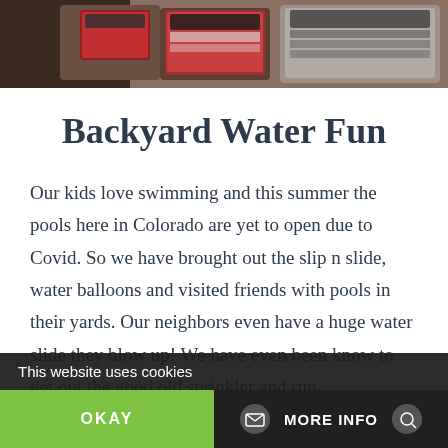[Figure (photo): Photo of packaged ground beef and other grocery items on a surface]
Backyard Water Fun
Our kids love swimming and this summer the pools here in Colorado are yet to open due to Covid. So we have brought out the slip n slide, water balloons and visited friends with pools in their yards. Our neighbors even have a huge water slide they blow up!  We have even been know to get out the good old sprinkler and run
This website uses cookies | OKAY | MORE INFO